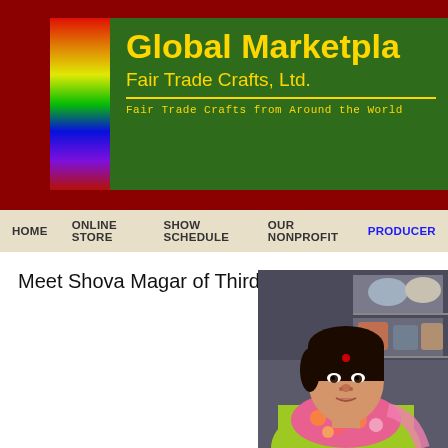[Figure (screenshot): Global Marketplace Fair Trade Crafts Ltd. website header banner with rainbow gradient bar on left and gold text on green background. Tagline: Fair Trade Crafts from Around the World.]
HOME   ONLINE STORE   SHOW SCHEDULE   OUR NONPROFIT   PRODUCERS
Meet Shova Magar of Third World Crafts in
[Figure (photo): Portrait photo of Shova Magar, a woman wearing a yellow-green jacket and floral/pink scarf, seated indoors with shelving visible in the background.]